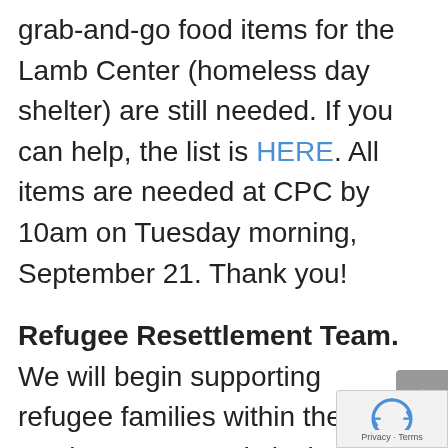grab-and-go food items for the Lamb Center (homeless day shelter) are still needed. If you can help, the list is HERE. All items are needed at CPC by 10am on Tuesday morning, September 21. Thank you!
Refugee Resettlement Team. We will begin supporting refugee families within the next week or two. Needs include: welcome team, household set-up, specialized assistance (English school registration, and paperwork, etc), one-time needs (furniture pick-